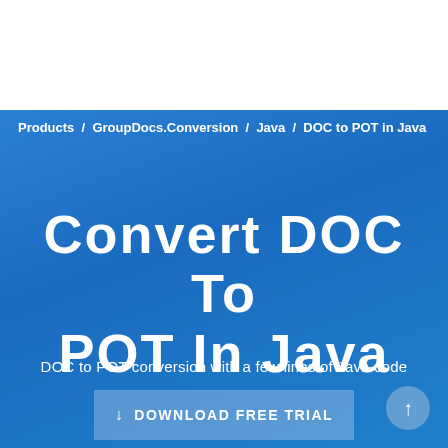Products / GroupDocs.Conversion / Java / DOC to POT in Java
Convert DOC To POT In Java
DOC to POT conversion with a few lines of Java code
DOWNLOAD FREE TRIAL